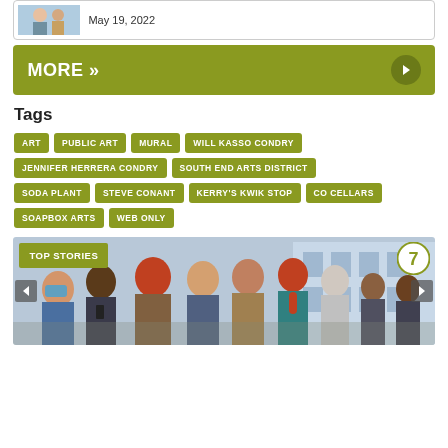[Figure (photo): Small photo of two people with a date 'May 19, 2022' beside it]
May 19, 2022
MORE »
Tags
ART
PUBLIC ART
MURAL
WILL KASSO CONDRY
JENNIFER HERRERA CONDRY
SOUTH END ARTS DISTRICT
SODA PLANT
STEVE CONANT
KERRY'S KWIK STOP
CO CELLARS
SOAPBOX ARTS
WEB ONLY
[Figure (illustration): Top Stories banner showing illustrated crowd of people from behind looking at a building, with a '7' badge in top right and navigation arrows on sides]